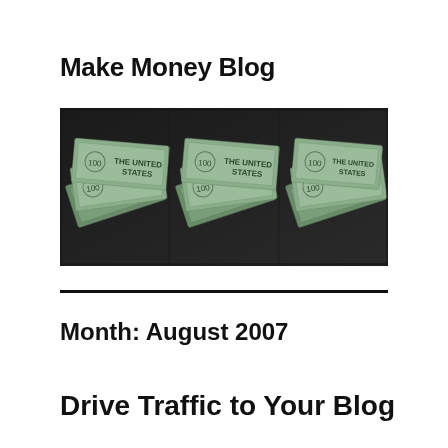Make Money Blog
[Figure (photo): Three repeated tiled images of US $100 dollar bills scattered in a pile, shown in a horizontal banner format with a dark/desaturated tone.]
Month: August 2007
Drive Traffic to Your Blog